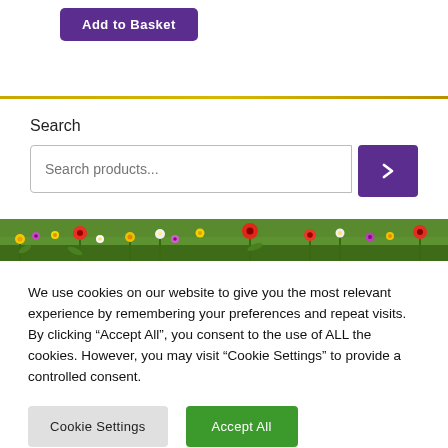[Figure (other): Purple 'Add to Basket' button]
[Figure (other): Horizontal yellow/gold decorative divider line]
Search
[Figure (other): Search input field with placeholder 'Search products...' and purple arrow button]
[Figure (photo): Colorful flower meadow banner strip with red, yellow, and white wildflowers on green grass]
We use cookies on our website to give you the most relevant experience by remembering your preferences and repeat visits. By clicking “Accept All”, you consent to the use of ALL the cookies. However, you may visit “Cookie Settings” to provide a controlled consent.
[Figure (other): Cookie Settings button (grey) and Accept All button (green)]